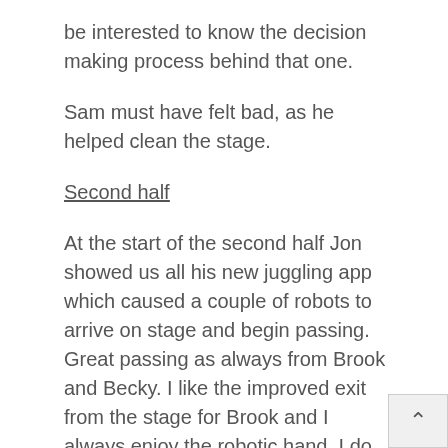be interested to know the decision making process behind that one.
Sam must have felt bad, as he helped clean the stage.
Second half
At the start of the second half Jon showed us all his new juggling app which caused a couple of robots to arrive on stage and begin passing. Great passing as always from Brook and Becky. I like the improved exit from the stage for Brook and I always enjoy the robotic hand. I do love the routine and although I have seen it quite a lot I still enjoy it each time.